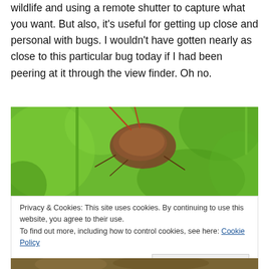wildlife and using a remote shutter to capture what you want. But also, it's useful for getting up close and personal with bugs. I wouldn't have gotten nearly as close to this particular bug today if I had been peering at it through the view finder. Oh no.
[Figure (photo): Close-up macro photograph of a bug/insect on a plant stem against a green background. The insect appears brown with reddish antennae, photographed in a blurred bokeh style.]
Privacy & Cookies: This site uses cookies. By continuing to use this website, you agree to their use.
To find out more, including how to control cookies, see here: Cookie Policy
Close and accept
[Figure (photo): Partial view of another close-up nature/insect photograph at the bottom of the page, partially cropped.]